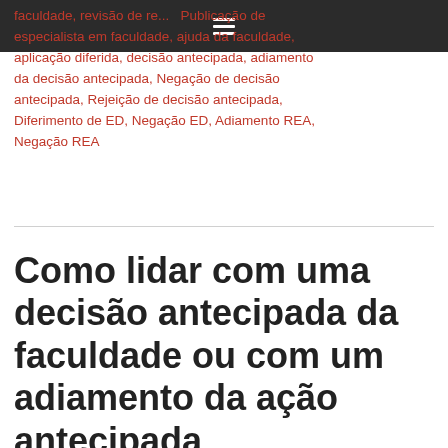[navigation bar with hamburger menu]
faculdade, revisão de re... ... Publicação de especialista em faculdade, ajuda da faculdade, aplicação diferida, decisão antecipada, adiamento da decisão antecipada, Negação de decisão antecipada, Rejeição de decisão antecipada, Diferimento de ED, Negação ED, Adiamento REA, Negação REA
Como lidar com uma decisão antecipada da faculdade ou com um adiamento da ação antecipada